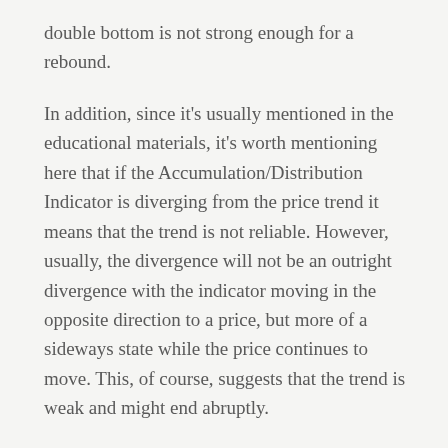double bottom is not strong enough for a rebound.
In addition, since it's usually mentioned in the educational materials, it's worth mentioning here that if the Accumulation/Distribution Indicator is diverging from the price trend it means that the trend is not reliable. However, usually, the divergence will not be an outright divergence with the indicator moving in the opposite direction to a price, but more of a sideways state while the price continues to move. This, of course, suggests that the trend is weak and might end abruptly.
The Bottom Line
One other issue worth mentioning is that you should check to see if your platform enables you to see volumes on FX pairs, which is a critical component for the Accumulation/Distribution Indicator. But, once the volume